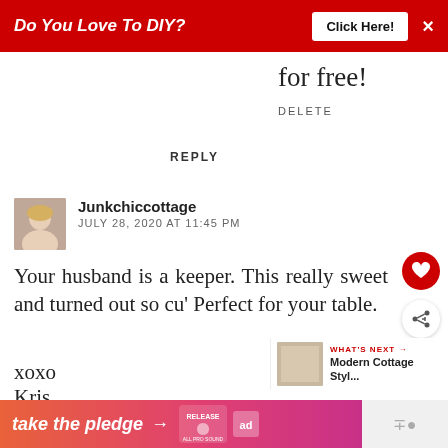[Figure (screenshot): Red ad banner: 'Do You Love To DIY? Click Here!' with close X button]
for free!
DELETE
REPLY
Junkchiccottage
JULY 28, 2020 AT 11:45 PM
Your husband is a keeper. This really sweet and turned out so cu' Perfect for your table.
xoxo
Kris
REPLY   DELETE
[Figure (infographic): Bottom ad banner: 'take the pledge' with arrow, Release logo, ad icon]
[Figure (infographic): WHAT'S NEXT arrow label with thumbnail and 'Modern Cottage Styl...' text]